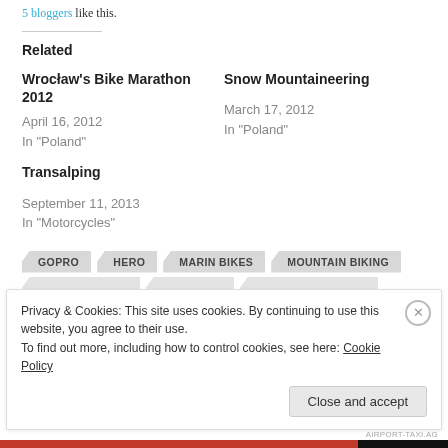5 bloggers like this.
Related
Wrocław's Bike Marathon 2012
April 16, 2012
In "Poland"
Snow Mountaineering
March 17, 2012
In "Poland"
Transalping
September 11, 2013
In "Motorcycles"
GOPRO  HERO  MARIN BIKES  MOUNTAIN BIKING
Privacy & Cookies: This site uses cookies. By continuing to use this website, you agree to their use.
To find out more, including how to control cookies, see here: Cookie Policy
Close and accept